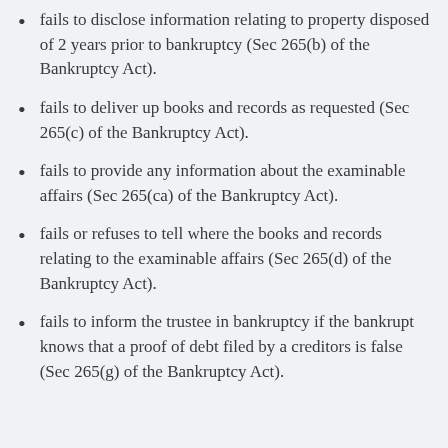fails to disclose information relating to property disposed of 2 years prior to bankruptcy (Sec 265(b) of the Bankruptcy Act).
fails to deliver up books and records as requested (Sec 265(c) of the Bankruptcy Act).
fails to provide any information about the examinable affairs (Sec 265(ca) of the Bankruptcy Act).
fails or refuses to tell where the books and records relating to the examinable affairs (Sec 265(d) of the Bankruptcy Act).
fails to inform the trustee in bankruptcy if the bankrupt knows that a proof of debt filed by a creditors is false (Sec 265(g) of the Bankruptcy Act).